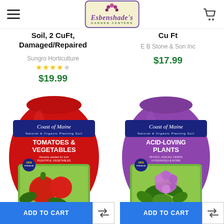Esbenshade's Garden Centers
Soil, 2 CuFt, Damaged/Repaired
Sungro Horticulture
★★★★☆
$19.99
Cu Ft
E B Stone & Son Inc
$17.99
[Figure (photo): Red bag of Coast of Maine Tomatoes & Vegetables organic planting soil with tomato illustration]
[Figure (photo): Purple bag of Coast of Maine Acid-Loving Plants organic planting soil with hydrangea illustration]
ADD TO CART
ADD TO CART